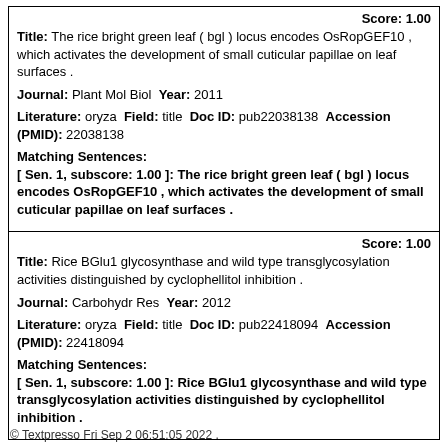Score: 1.00
Title: The rice bright green leaf ( bgl ) locus encodes OsRopGEF10 , which activates the development of small cuticular papillae on leaf surfaces .
Journal: Plant Mol Biol Year: 2011
Literature: oryza Field: title Doc ID: pub22038138 Accession (PMID): 22038138
Matching Sentences:
[ Sen. 1, subscore: 1.00 ]: The rice bright green leaf ( bgl ) locus encodes OsRopGEF10 , which activates the development of small cuticular papillae on leaf surfaces .
Score: 1.00
Title: Rice BGlu1 glycosynthase and wild type transglycosylation activities distinguished by cyclophellitol inhibition .
Journal: Carbohydr Res Year: 2012
Literature: oryza Field: title Doc ID: pub22418094 Accession (PMID): 22418094
Matching Sentences:
[ Sen. 1, subscore: 1.00 ]: Rice BGlu1 glycosynthase and wild type transglycosylation activities distinguished by cyclophellitol inhibition .
Goto:
© Textpresso Fri Sep 2 06:51:05 2022 .